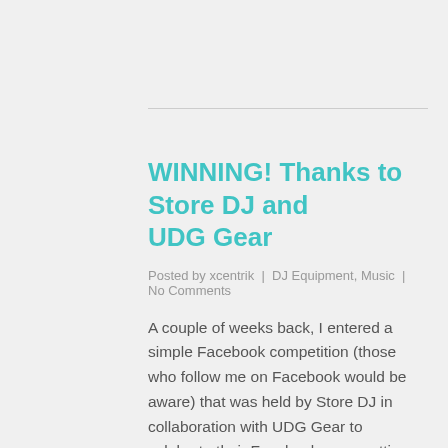WINNING! Thanks to Store DJ and UDG Gear
Posted by xcentrik | DJ Equipment, Music | No Comments
A couple of weeks back, I entered a simple Facebook competition (those who follow me on Facebook would be aware) that was held by Store DJ in collaboration with UDG Gear to celebrate their Facebook page getting 20,000 Likes! Congrats guys!
All I had to do was explain in 25 words or less what I would buy and what I would do with it. A week later I received a call from the Store DJ HQ in Melbourne notifying me that I've won the runners up prize! This was a big excitement for me as the last time I won any